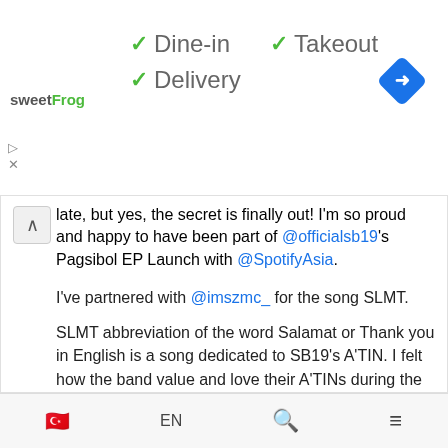[Figure (screenshot): Ad banner with sweetFrog logo, checkmarks for Dine-in, Takeout, Delivery options, and navigation icon]
late, but yes, the secret is finally out! I'm so proud and happy to have been part of @officialsb19's Pagsibol EP Launch with @SpotifyAsia.
I've partnered with @imszmc_ for the song SLMT.
SLMT abbreviation of the word Salamat or Thank you in English is a song dedicated to SB19's A'TIN. I felt how the band value and love their A'TINs during the meeting. Not to mention na kurot sa puso yung song the first time I heard it. The way Pablo explained and emphasized the whole meaning of the song was mesmerizing. One thing I learned about this project is, following a band isn't just about the music. It is also about the sense of community and support - fighting for something bigger and the strength in connecting with people over shared passions and interests. Sabi nga nila..
🇹🇷  EN  🔍  ≡